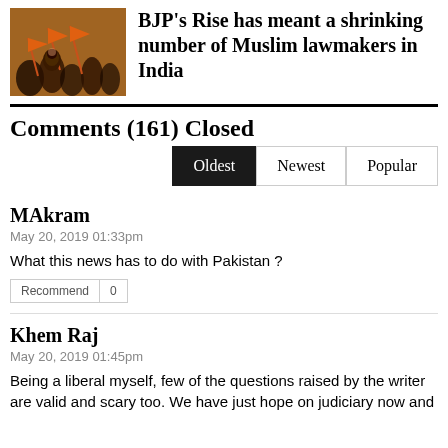[Figure (photo): Photo of people at a political rally, holding orange flags, BJP supporters]
BJP's Rise has meant a shrinking number of Muslim lawmakers in India
Comments (161) Closed
Oldest | Newest | Popular (sort options)
MAkram
May 20, 2019 01:33pm
What this news has to do with Pakistan ?
Recommend | 0
Khem Raj
May 20, 2019 01:45pm
Being a liberal myself, few of the questions raised by the writer are valid and scary too. We have just hope on judiciary now and